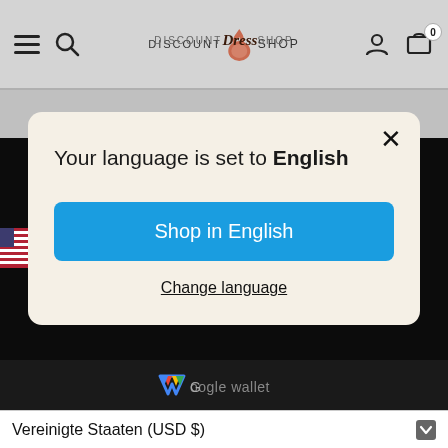[Figure (screenshot): Discount Dress Shop website header navigation bar with hamburger menu icon, search icon, logo, user account icon, and cart icon with badge showing 0]
[Figure (screenshot): Language selection modal dialog on dark overlay background. Modal has a close X button, heading 'Your language is set to English', a blue 'Shop in English' button, and an underlined 'Change language' link. A US flag icon is visible on the left side.]
Your language is set to English
Shop in English
Change language
[Figure (logo): Google Wallet logo text in multicolor with stylized W icon]
Vereinigte Staaten (USD $)